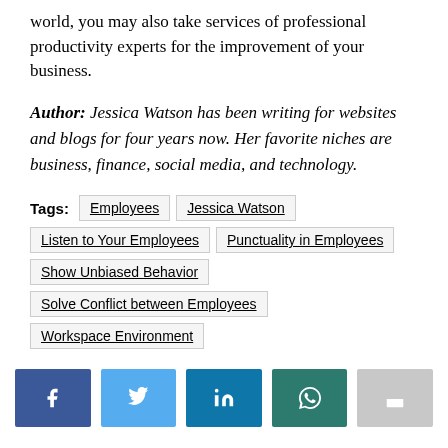world, you may also take services of professional productivity experts for the improvement of your business.
Author: Jessica Watson has been writing for websites and blogs for four years now. Her favorite niches are business, finance, social media, and technology.
Tags: Employees  Jessica Watson  Listen to Your Employees  Punctuality in Employees  Show Unbiased Behavior  Solve Conflict between Employees  Workspace Environment
[Figure (infographic): Social share buttons row: Facebook (dark blue), Twitter (light blue), LinkedIn (medium blue), WhatsApp (dark teal), Share (gray)]